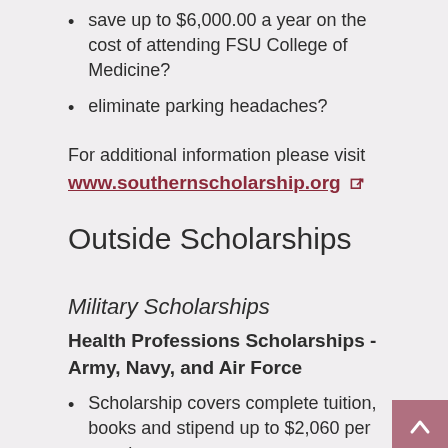save up to $6,000.00 a year on the cost of attending FSU College of Medicine?
eliminate parking headaches?
For additional information please visit
www.southernscholarship.org
Outside Scholarships
Military Scholarships
Health Professions Scholarships - Army, Navy, and Air Force
Scholarship covers complete tuition, books and stipend up to $2,060 per month
Two, three and four year programs available